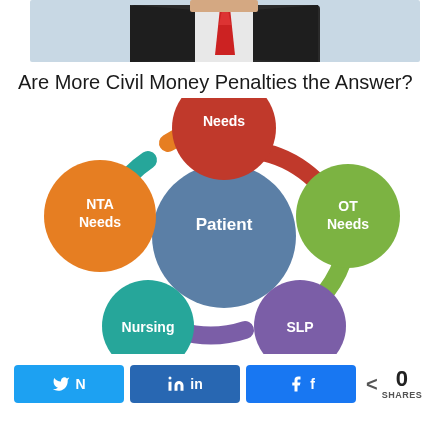[Figure (photo): Partial photo of a person in a suit with a red tie, cropped at the top of the page]
Are More Civil Money Penalties the Answer?
[Figure (infographic): Circular diagram showing a central blue circle labeled 'Patient' surrounded by five colored circles connected by curved arcs: red circle (top) labeled 'Needs' (partially cut off, likely 'PT Needs'), orange circle (left) labeled 'NTA Needs', teal circle (bottom-left) labeled 'Nursing', purple circle (bottom-right) labeled 'SLP', and green circle (right) labeled 'OT Needs'. The circles are connected by colored curved connector arcs forming a ring around the central Patient circle.]
0 SHARES
[Figure (infographic): Social share buttons: Twitter, LinkedIn, Facebook, and a share count showing 0 SHARES]